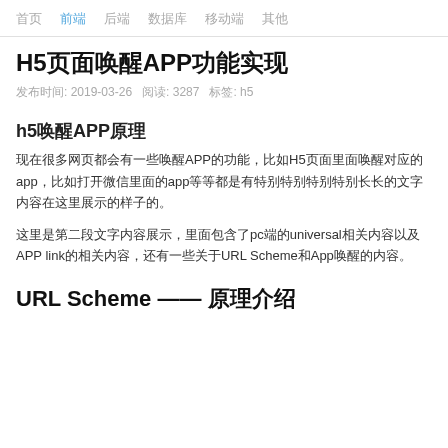首页  前端  后端  数据库  移动端  其他
H5页面唤醒APP功能实现
发布时间: 2019-03-26   阅读: 3287   标签: h5
h5唤醒APP原理
现在很多网页都会有一些唤醒APP的功能，比如H5页面里面唤醒对应的app，比如打开微信里面的app等等都是有特别特别特别特别长长的文字内容在这里展示的样子的。
这里是第二段文字内容展示，里面包含了pc端的universal相关内容以及 APP link的相关内容，还有一些关于URL Scheme和App唤醒的内容。
URL Scheme —— 原理介绍